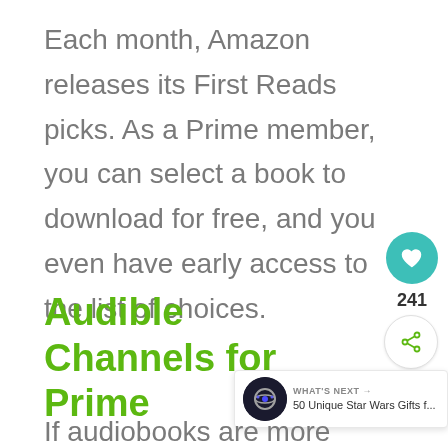Each month, Amazon releases its First Reads picks. As a Prime member, you can select a book to download for free, and you even have early access to the list of choices.
Audible Channels for Prime
If audiobooks are more your style,